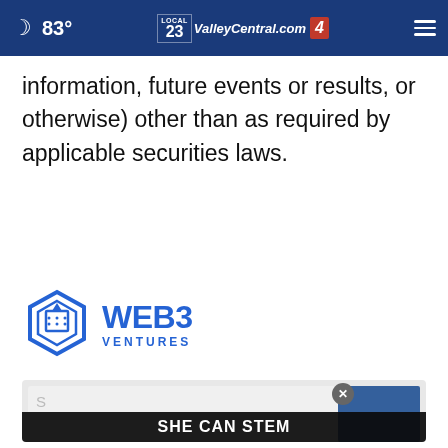83° ValleyCentral.com 23 Local Fox 4
information, future events or results, or otherwise) other than as required by applicable securities laws.
[Figure (logo): Web3 Ventures logo — blue hexagon icon with 'WEB3 VENTURES' text in blue]
[Figure (screenshot): Ad banner area showing a search input field, close button, blue panel, and 'SHE CAN STEM' banner overlay at the bottom]